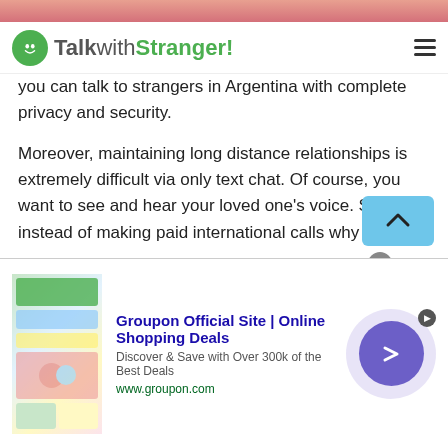TalkwithStranger!
you can talk to strangers in Argentina with complete privacy and security.
Moreover, maintaining long distance relationships is extremely difficult via only text chat. Of course, you want to see and hear your loved one's voice. So, instead of making paid international calls why not avail TWS voice call feature? It is easy, convenient and available for free. Well, if you ever think to make international calls, don't forget to download the Talkwithstranger app and start using the unlimited voice call option. So, what would you like to choose
[Figure (screenshot): Groupon advertisement banner with logo image, title 'Groupon Official Site | Online Shopping Deals', subtitle 'Discover & Save with Over 300k of the Best Deals', url 'www.groupon.com', close button, and forward arrow button]